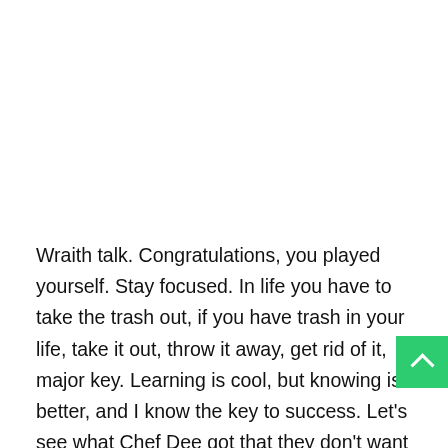Wraith talk. Congratulations, you played yourself. Stay focused. In life you have to take the trash out, if you have trash in your life, take it out, throw it away, get rid of it, major key. Learning is cool, but knowing is better, and I know the key to success. Let's see what Chef Dee got that they don't want us to eat. Cloth talk.
The key to more success is to have a lot of pillows. We the best. I'm giving you cloth talk, cloth. Special cloth alert, cut from a special cloth. I'm giving you cloth talk, cloth. Special cloth alert, cut from a special cloth. Look at the sunset, life is amazing, life is beautiful, life is what you make it. The key to more success is to have a lot of pillows. You should never